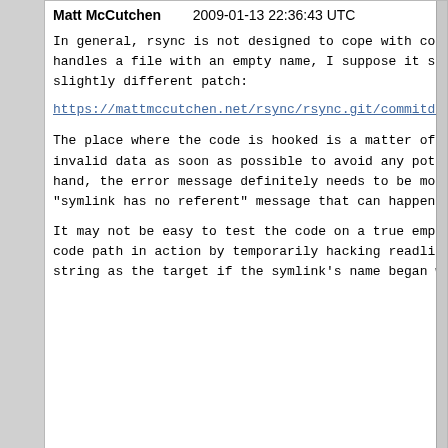Matt McCutchen    2009-01-13 22:36:43 UTC
In general, rsync is not designed to cope with corru handles a file with an empty name, I suppose it shou slightly different patch:
https://mattmccutchen.net/rsync/rsync.git/commitdiff
The place where the code is hooked is a matter of ta invalid data as soon as possible to avoid any potent hand, the error message definitely needs to be more "symlink has no referent" message that can happen wi
It may not be easy to test the code on a true empty code path in action by temporarily hacking readlink_ string as the target if the symlink's name began wit
Matt McCutchen    2009-01-13 22:43:11 UTC
On second thought, maybe I should let --copy-unsafe- filesystem where some symlinks appear to have an emp followed.  More generally, what if readlink returns followed?
Matt McCutchen    2009-01-31 00:17:39 UTC
Thoughts on comment #3?